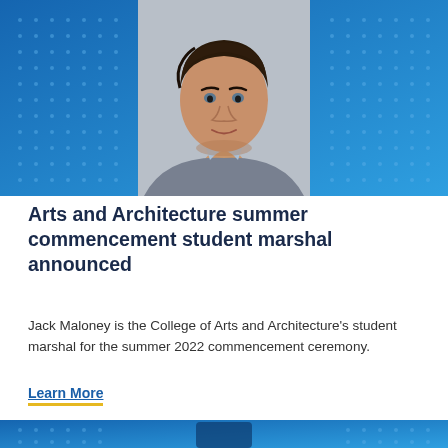[Figure (photo): Portrait photo of Jack Maloney, a young man with dark curly hair wearing a grey sweater over a light blue checkered shirt, set against a blue background with white dot patterns on the sides.]
Arts and Architecture summer commencement student marshal announced
Jack Maloney is the College of Arts and Architecture's student marshal for the summer 2022 commencement ceremony.
Learn More
[Figure (photo): Partial blue banner at the bottom of the page with white dot pattern, beginning of another article card.]